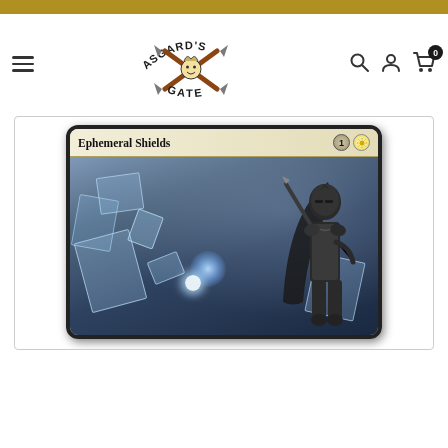Asgard's Gate - online store header with navigation
[Figure (screenshot): Magic: The Gathering card 'Ephemeral Shields' with mana cost 1W, showing a knight in black armor surrounded by translucent shattering shield fragments with glowing blue energy, dark atmospheric background]